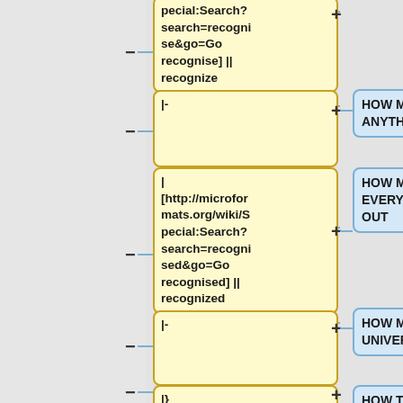[Figure (flowchart): A flowchart diagram showing wiki table markup nodes on the left (yellow boxes) connected via plus/minus signs and a vertical blue line to descriptive label nodes on the right (blue boxes). Rows include: 'pecial:Search?search=recognise&go=Go recognise] || recognize', '|-', '| [http://microformats.org/wiki/Special:Search?search=recognised&go=Go recognised] || recognized', '|-', '|}' with corresponding right labels 'HOW MAKE ANYTHING OUT', 'HOW MAKE EVERYTHING OUT', 'HOW MAKE UNIVERSE OUT', 'HOW THING BE OUT', and partial 'HOW' at bottom.]